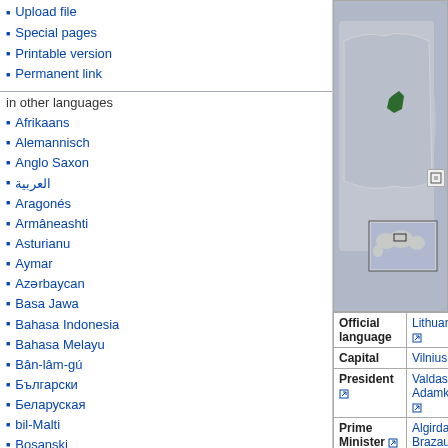Upload file
Special pages
Printable version
Permanent link
in other languages
Afrikaans
Alemannisch
Anglo Saxon
العربية
Aragonés
Armâneashti
Asturianu
Aymar
Azərbaycan
Basa Jawa
Bahasa Indonesia
Bahasa Melayu
Bân-lâm-gú
Български
Беларуская
bil-Malti
Bosanski
Brezhoneg
Català
[Figure (map): Map showing Lithuania highlighted in green on a map of Europe, with a smaller world map inset showing the region.]
| Field | Value |
| --- | --- |
| Official language | Lithuanian |
| Capital | Vilnius |
| President | Valdas Adamkus |
| Prime Minister | Algirdas Brazauskas |
| Area | Ranked 122nd |
| Total | 65,303 km² |
| % water | Negligible |
| Population | Ranked 125th |
| Total (July 2005 est.) | 3,596,617 |
| Density | 55.2/km² |
| GDP (PPP) Total (July 2005 est.) | Ranked 74th (total)
$49.1 billion |